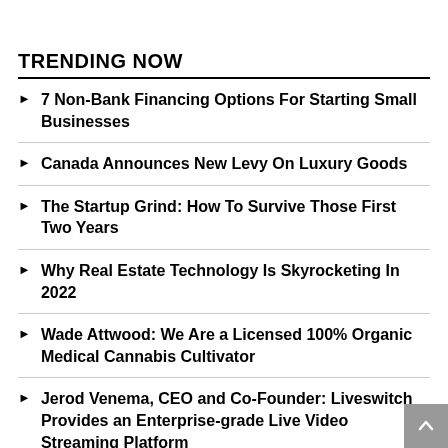TRENDING NOW
7 Non-Bank Financing Options For Starting Small Businesses
Canada Announces New Levy On Luxury Goods
The Startup Grind: How To Survive Those First Two Years
Why Real Estate Technology Is Skyrocketing In 2022
Wade Attwood: We Are a Licensed 100% Organic Medical Cannabis Cultivator
Jerod Venema, CEO and Co-Founder: Liveswitch Provides an Enterprise-grade Live Video Streaming Platform